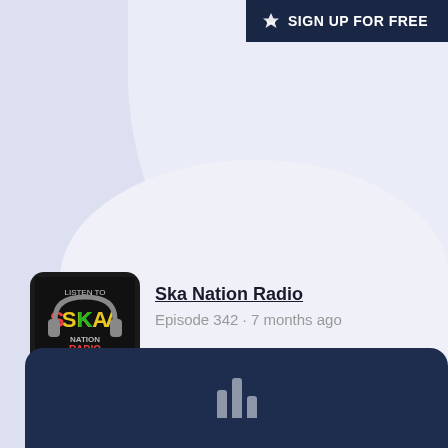SIGN UP FOR FREE
[Figure (logo): Ska Nation Radio podcast logo - dark background with colorful ska text and headphones graphic]
Ska Nation Radio
Episode 342 · 7 months ago
The Ska Show with Beefy Top 30 of 2021
[Figure (screenshot): Dark navy podcast player bar at the bottom with podcast/audio bars icon in white]